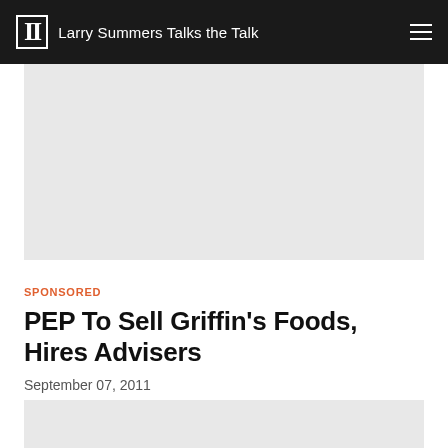II Larry Summers Talks the Talk
[Figure (other): Gray advertisement block at top of page]
SPONSORED
PEP To Sell Griffin's Foods, Hires Advisers
September 07, 2011
[Figure (other): Gray advertisement block at bottom of page]